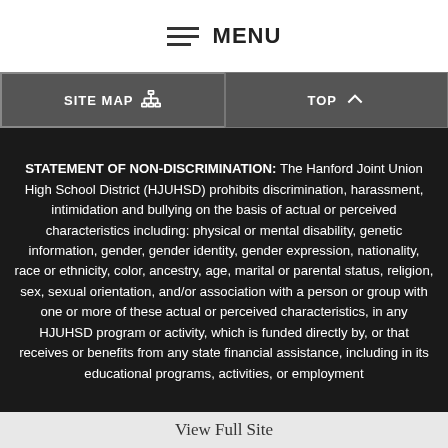MENU
SITE MAP   TOP
STATEMENT OF NON-DISCRIMINATION: The Hanford Joint Union High School District (HJUHSD) prohibits discrimination, harassment, intimidation and bullying on the basis of actual or perceived characteristics including: physical or mental disability, genetic information, gender, gender identity, gender expression, nationality, race or ethnicity, color, ancestry, age, marital or parental status, religion, sex, sexual orientation, and/or association with a person or group with one or more of these actual or perceived characteristics, in any HJUHSD program or activity, which is funded directly by, or that receives or benefits from any state financial assistance, including in its educational programs, activities, or employment
View Full Site